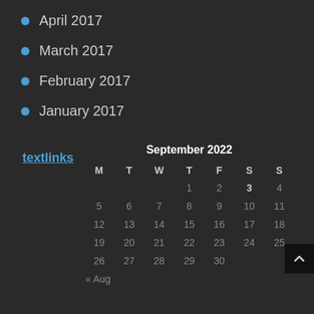April 2017
March 2017
February 2017
January 2017
textlinks
| M | T | W | T | F | S | S |
| --- | --- | --- | --- | --- | --- | --- |
|  |  |  | 1 | 2 | 3 | 4 |
| 5 | 6 | 7 | 8 | 9 | 10 | 11 |
| 12 | 13 | 14 | 15 | 16 | 17 | 18 |
| 19 | 20 | 21 | 22 | 23 | 24 | 25 |
| 26 | 27 | 28 | 29 | 30 |  |  |
| « Aug |  |  |  |  |  |  |